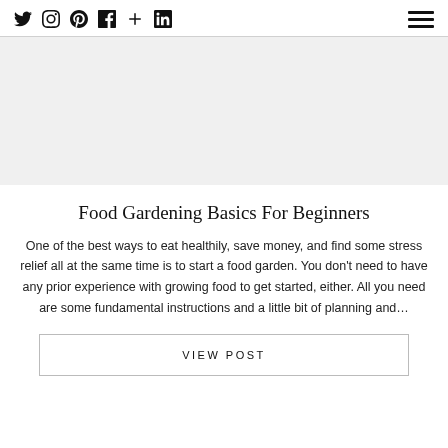Social icons: Twitter, Instagram, Pinterest, Facebook, Plus, LinkedIn; Hamburger menu
Food Gardening Basics For Beginners
One of the best ways to eat healthily, save money, and find some stress relief all at the same time is to start a food garden. You don't need to have any prior experience with growing food to get started, either. All you need are some fundamental instructions and a little bit of planning and…
VIEW POST